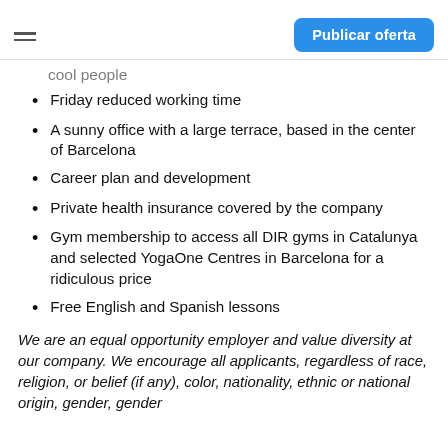≡  Publicar oferta
cool people
Friday reduced working time
A sunny office with a large terrace, based in the center of Barcelona
Career plan and development
Private health insurance covered by the company
Gym membership to access all DIR gyms in Catalunya and selected YogaOne Centres in Barcelona for a ridiculous price
Free English and Spanish lessons
We are an equal opportunity employer and value diversity at our company. We encourage all applicants, regardless of race, religion, or belief (if any), color, nationality, ethnic or national origin, gender, gender identity…